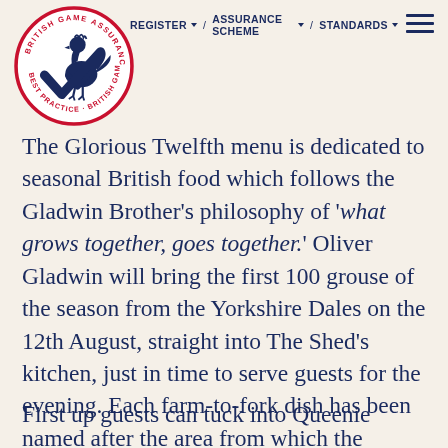REGISTER ▾ / ASSURANCE SCHEME ▾ / STANDARDS ▾
[Figure (logo): British Game Assurance circular logo with a blue checkmark and cockerel, red circular border text reading 'BRITISH GAME ASSURANCE' and 'BEST PRACTICE BRITISH GAME']
The Glorious Twelfth menu is dedicated to seasonal British food which follows the Gladwin Brother's philosophy of 'what grows together, goes together.' Oliver Gladwin will bring the first 100 grouse of the season from the Yorkshire Dales on the 12th August, straight into The Shed's kitchen, just in time to serve guests for the evening. Each farm-to-fork dish has been named after the area from which the produce was sourced.
First up guests can tuck into Queenie